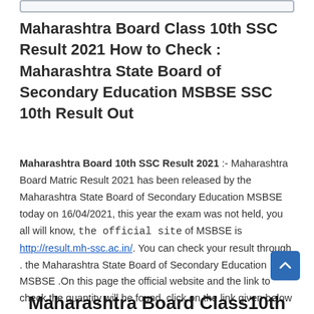Maharashtra Board Class 10th SSC Result 2021 How to Check : Maharashtra State Board of Secondary Education MSBSE SSC 10th Result Out
Maharashtra Board 10th SSC Result 2021 :- Maharashtra Board Matric Result 2021 has been released by the Maharashtra State Board of Secondary Education MSBSE today on 16/04/2021, this year the exam was not held, you all will know, the official site of MSBSE is http://result.mh-ssc.ac.in/. You can check your result through . the Maharashtra State Board of Secondary Education MSBSE .On this page the official website and the link to check the quantity will be found, click on the link given below
Maharashtra Board Class10th